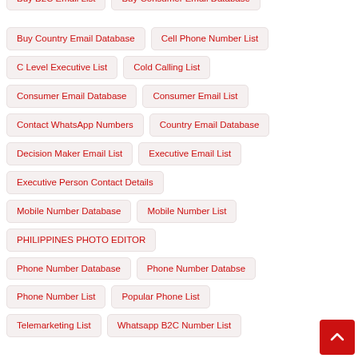Buy Country Email Database
Cell Phone Number List
C Level Executive List
Cold Calling List
Consumer Email Database
Consumer Email List
Contact WhatsApp Numbers
Country Email Database
Decision Maker Email List
Executive Email List
Executive Person Contact Details
Mobile Number Database
Mobile Number List
PHILIPPINES PHOTO EDITOR
Phone Number Database
Phone Number Databse
Phone Number List
Popular Phone List
Telemarketing List
Whatsapp B2C Number List